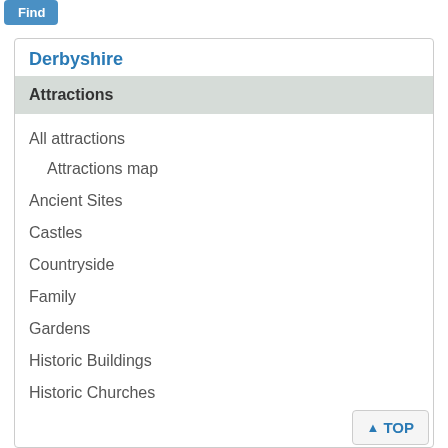[Figure (screenshot): Blue 'Find' button at top left]
Derbyshire
Attractions
All attractions
Attractions map
Ancient Sites
Castles
Countryside
Family
Gardens
Historic Buildings
Historic Churches